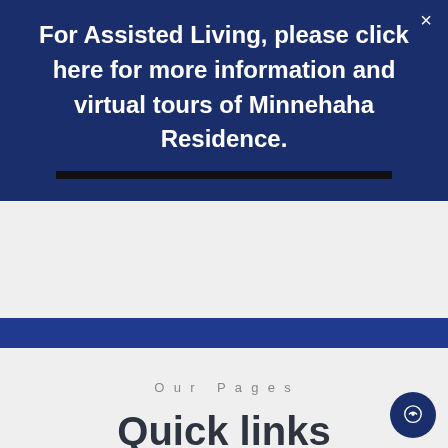For Assisted Living, please click here for more information and virtual tours of Minnehaha Residence.
Our Pages
Quick links